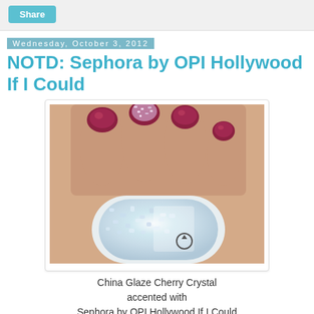Share
Wednesday, October 3, 2012
NOTD: Sephora by OPI Hollywood If I Could
[Figure (photo): A hand holding a nail polish bottle showing nails painted in deep burgundy/cherry with one accent nail featuring holographic glitter. The bottle being held is a holographic glitter polish.]
China Glaze Cherry Crystal accented with Sephora by OPI Hollywood If I Could